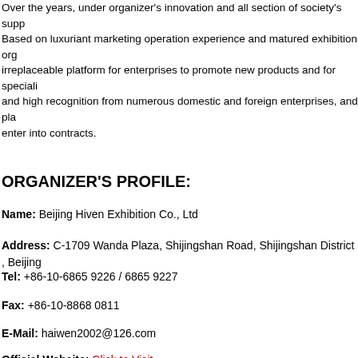Over the years, under organizer's innovation and all section of society's support. Based on luxuriant marketing operation experience and matured exhibition organization, it has become an irreplaceable platform for enterprises to promote new products and for specialists to exchange. We receive high recognition from numerous domestic and foreign enterprises, and place where visitors can enter into contracts.
ORGANIZER'S PROFILE:
Name: Beijing Hiven Exhibition Co., Ltd
Address: C-1709 Wanda Plaza, Shijingshan Road, Shijingshan District , Beijing
Tel: +86-10-6865 9226 / 6865 9227
Fax: +86-10-8868 0811
E-Mail: haiwen2002@126.com
Official Website: Click to Visit
Beijing Hiven Exhibition Co., Ltd, as one of the world's leading event organizer, its core business is